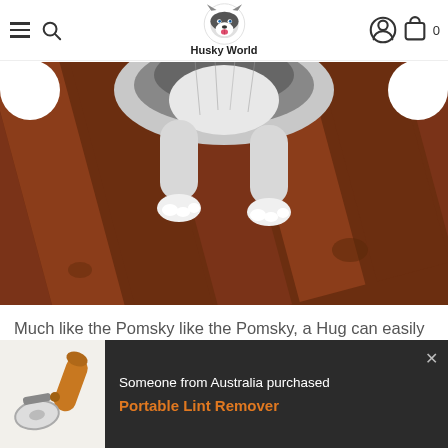Husky World
[Figure (photo): Close-up photo of a Husky dog's paws and lower body standing on dark wooden deck/planks, viewed from above.]
Much like the Pomsky like the Pomsky, a Hug can easily adapt to the demands of family life as well as apartment living however, he'll require regular exercise. While sharing
[Figure (photo): Product popup notification showing a Portable Lint Remover (a hand-held roller tool with wooden handle) with text 'Someone from Australia purchased Portable Lint Remover'.]